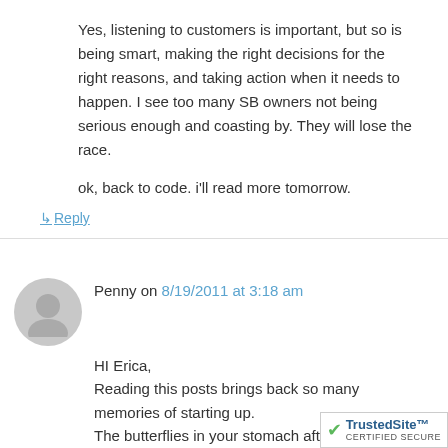Yes, listening to customers is important, but so is being smart, making the right decisions for the right reasons, and taking action when it needs to happen. I see too many SB owners not being serious enough and coasting by. They will lose the race.

ok, back to code. i'll read more tomorrow.
↳ Reply
Penny on 8/19/2011 at 3:18 am
HI Erica,
Reading this posts brings back so many memories of starting up.
The butterflies in your stomach after the inital euphoria of registering a business and setting up an office. Reality just strikes you and you know you have to get up and running.

Thanks for the reminder of always setting up yourself not to fail and using that 'hunger' to bring you closer to your goals instead of against you.